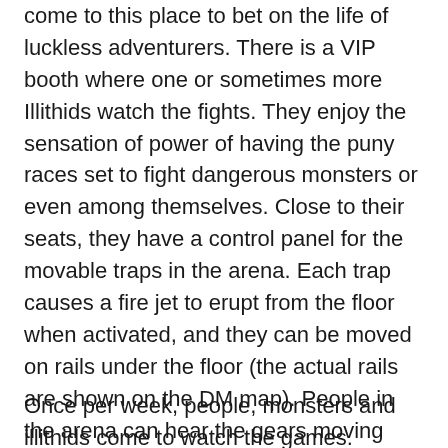come to this place to bet on the life of luckless adventurers. There is a VIP booth where one or sometimes more Illithids watch the fights. They enjoy the sensation of power of having the puny races set to fight dangerous monsters or even among themselves. Close to their seats, they have a control panel for the movable traps in the arena. Each trap causes a fire jet to erupt from the floor when activated, and they can be moved on rails under the floor (the actual rails are shown on the DM map). People in the arena can hear the gears moving under the floor with a successful Perception check (DC 13) and try to guess the location of the trap. If a creature is in the fire jet when it erupts it must succeed on a Dex Save (DC 15) or take 4d6 fire damage, miss half.
Once per week, people, monsters and illithids come to watch the games. Fighters who survive become local